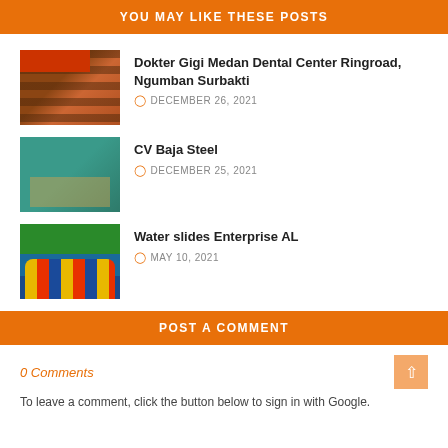YOU MAY LIKE THESE POSTS
[Figure (photo): Building exterior with dark wooden shutters and red upper floor — dental clinic]
Dokter Gigi Medan Dental Center Ringroad, Ngumban Surbakti
DECEMBER 26, 2021
[Figure (photo): Interior of steel/metalwork shop with teal walls and equipment]
CV Baja Steel
DECEMBER 25, 2021
[Figure (photo): Colorful water slides and inflatable bounce attractions outdoors]
Water slides Enterprise AL
MAY 10, 2021
POST A COMMENT
0 Comments
To leave a comment, click the button below to sign in with Google.